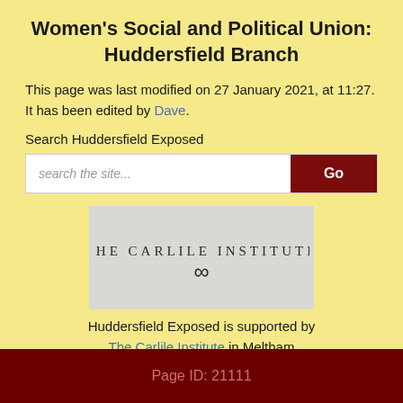Women's Social and Political Union: Huddersfield Branch
This page was last modified on 27 January 2021, at 11:27. It has been edited by Dave.
Search Huddersfield Exposed
[Figure (logo): The Carlile Institute logo on grey background with decorative symbol]
Huddersfield Exposed is supported by The Carlile Institute in Meltham
Page ID: 21111